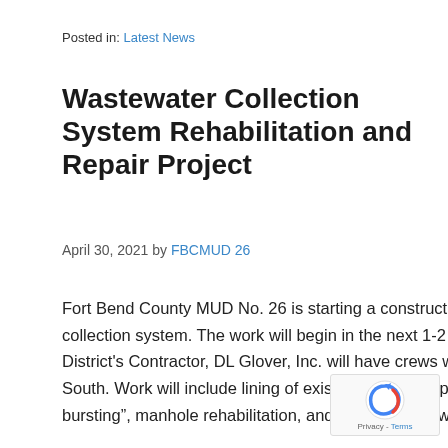Posted in: Latest News
Wastewater Collection System Rehabilitation and Repair Project
April 30, 2021 by FBCMUD 26
Fort Bend County MUD No. 26 is starting a construction project to repair and rehabilitate the existing wastewater collection system. The work will begin in the next 1-2 weeks and will be ongoing over the next 18 months, the District's Contractor, DL Glover, Inc. will have crews working in Quail Green, Quail Green West and Quail Green South. Work will include lining of existing sewers, replacement of existing sewer lines with new ones by “pipe bursting”, manhole rehabilitation, and various other work.